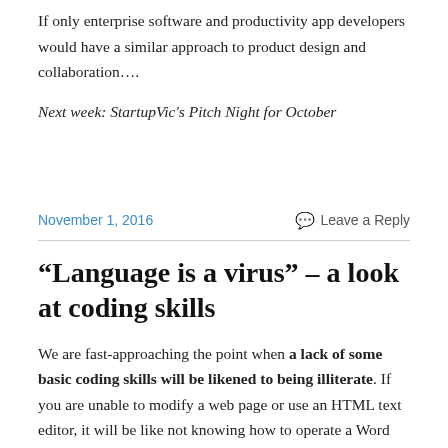If only enterprise software and productivity app developers would have a similar approach to product design and collaboration….
Next week: StartupVic's Pitch Night for October
November 1, 2016
Leave a Reply
“Language is a virus” – a look at coding skills
We are fast-approaching the point when a lack of some basic coding skills will be likened to being illiterate. If you are unable to modify a web page or use an HTML text editor, it will be like not knowing how to operate a Word…